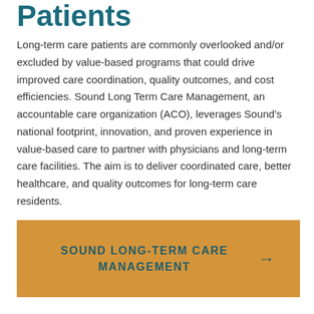Patients
Long-term care patients are commonly overlooked and/or excluded by value-based programs that could drive improved care coordination, quality outcomes, and cost efficiencies. Sound Long Term Care Management, an accountable care organization (ACO), leverages Sound's national footprint, innovation, and proven experience in value-based care to partner with physicians and long-term care facilities. The aim is to deliver coordinated care, better healthcare, and quality outcomes for long-term care residents.
SOUND LONG-TERM CARE MANAGEMENT →